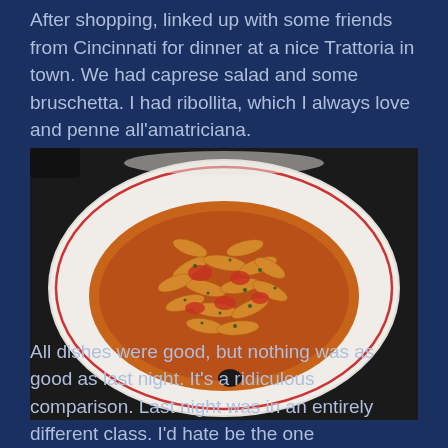After shopping, linked up with some friends from Cincinnati for dinner at a nice Trattoria in town. We had caprese salad and some bruschetta. I had ribollita, which I always love and penne all'amatriciana.
[Figure (photo): A white plate of penne all'amatriciana pasta with tomato sauce and herbs, served on a dark background. A black olive is visible on the plate.]
All dishes were good, but nothing was as good as last night. It's a ridiculous comparison. Last night was in an entirely different class. I'd hate be the one